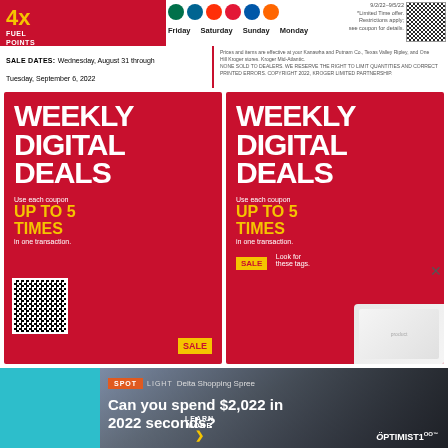4x FUEL POINTS ON GIFT CARDS WITH DIGITAL COUPON — Friday Saturday Sunday Monday — 9/2/22–9/5/22 *Limited Time offer. Restrictions apply; see coupon for details.
SALE DATES: Wednesday, August 31 through Tuesday, September 6, 2022
SELECTION MAY VARY BY STORE. LIMITED TO STOCK ON HAND.
[Figure (infographic): Red panel: WEEKLY DIGITAL DEALS — Use each coupon UP TO 5 TIMES in one transaction. QR code bottom left. SALE tag bottom right.]
[Figure (infographic): Red panel: WEEKLY DIGITAL DEALS — Use each coupon UP TO 5 TIMES in one transaction. SALE tag. Look for these tags. Product image bottom right.]
SPOTLIGHT Delta Shopping Spree
Can you spend $2,022 in 2022 seconds?
LEARN MORE
OPTIMIST 100